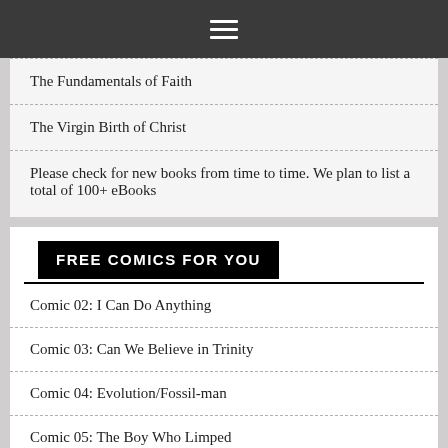Navigation menu
The Fundamentals of Faith
The Virgin Birth of Christ
Please check for new books from time to time. We plan to list a total of 100+ eBooks
FREE COMICS FOR YOU
Comic 02: I Can Do Anything
Comic 03: Can We Believe in Trinity
Comic 04: Evolution/Fossil-man
Comic 05: The Boy Who Limped
Comic 06: The Prodigal Son